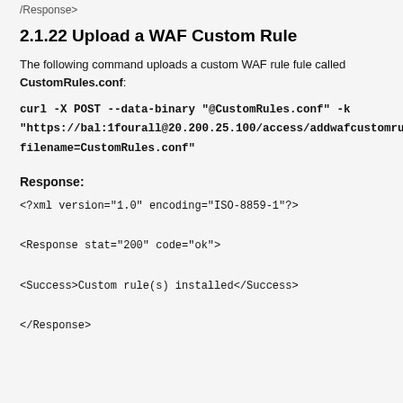/Response>
2.1.22 Upload a WAF Custom Rule
The following command uploads a custom WAF rule fule called CustomRules.conf:
curl -X POST --data-binary "@CustomRules.conf" -k "https://bal:1fourall@20.200.25.100/access/addwafcustomrule?filename=CustomRules.conf"
Response:
<?xml version="1.0" encoding="ISO-8859-1"?>
<Response stat="200" code="ok">
<Success>Custom rule(s) installed</Success>
</Response>